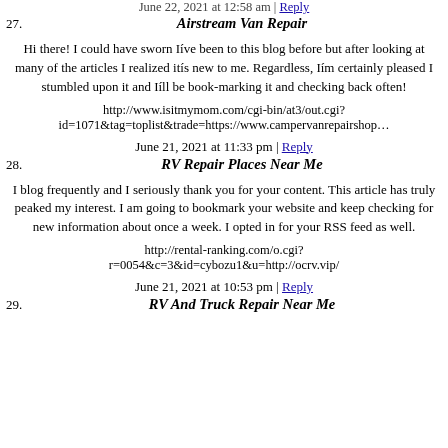June 22, 2021 at 12:58 am | Reply
27. Airstream Van Repair
Hi there! I could have sworn Iíve been to this blog before but after looking at many of the articles I realized itís new to me. Regardless, Iím certainly pleased I stumbled upon it and Iíll be book-marking it and checking back often!
http://www.isitmymom.com/cgi-bin/at3/out.cgi?id=1071&tag=toplist&trade=https://www.campervanrepairsho
June 21, 2021 at 11:33 pm | Reply
28. RV Repair Places Near Me
I blog frequently and I seriously thank you for your content. This article has truly peaked my interest. I am going to bookmark your website and keep checking for new information about once a week. I opted in for your RSS feed as well.
http://rental-ranking.com/o.cgi?r=0054&c=3&id=cybozu1&u=http://ocrv.vip/
June 21, 2021 at 10:53 pm | Reply
29. RV And Truck Repair Near Me